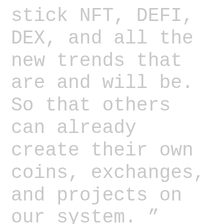stick NFT, DEFI, DEX, and all the new trends that are and will be. So that others can already create their own coins, exchanges, and projects on our system. ”
— Leaked Conti Chat Logs
[Figure (other): Dark banner with diagonal texture pattern and text 'Content Continues Below']
Conti is constantly updating their capabilities to reflect the latest vulnerabilities, for example,